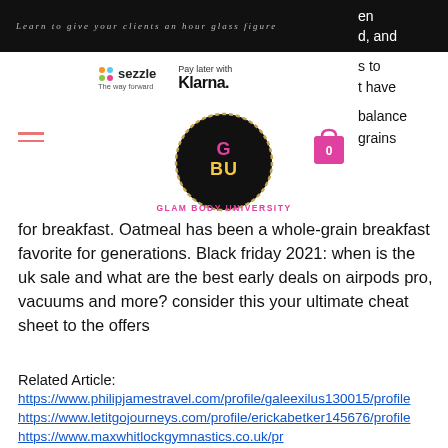Learn to give your clients an hour glass figure
[Figure (logo): Sezzle logo with 'The way forward' tagline and Klarna 'Pay later with Klarna.' logo]
[Figure (logo): Glam Body University circular logo with GBU letters and shopping cart icon]
for breakfast. Oatmeal has been a whole-grain breakfast favorite for generations. Black friday 2021: when is the uk sale and what are the best early deals on airpods pro, vacuums and more? consider this your ultimate cheat sheet to the offers
Related Article:
https://www.philipjamestravel.com/profile/galeexilus130015/profile
https://www.letitgojourneys.com/profile/erickabetker145676/profile
https://www.maxwhitlockgymnastics.co.uk/profile/ronsyberlooker18448/profile